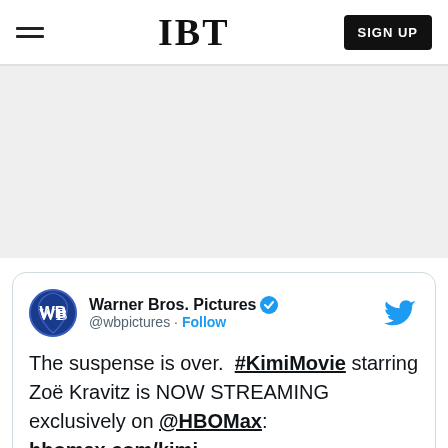IBT | SIGN UP
[Figure (screenshot): Gray advertisement placeholder area]
Warner Bros. Pictures @wbpictures · Follow
The suspense is over. #KimiMovie starring Zoë Kravitz is NOW STREAMING exclusively on @HBOMax: hbomax.com/kimi